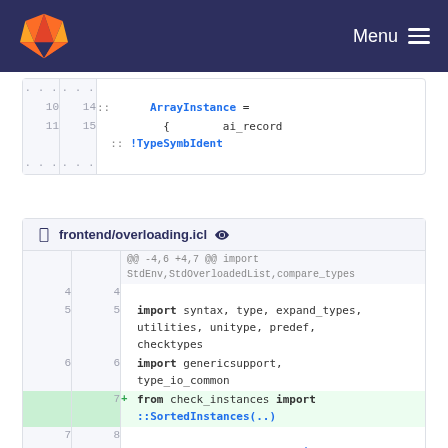GitLab Menu
[Figure (screenshot): Code diff block showing lines 9-15 with ArrayInstance and TypeSymbIdent code]
[Figure (screenshot): Code diff for frontend/overloading.icl showing import statements and a new line from check_instances import ::SortedInstances(..) and LocalTypePatternVariable]